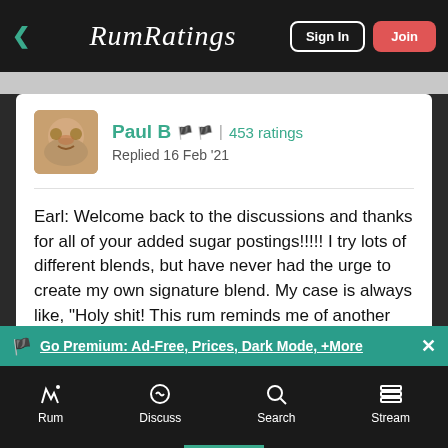RumRatings | Sign In | Join
Paul B 🏴‍☠️🏴‍☠️ | 453 ratings
Replied 16 Feb '21
Earl: Welcome back to the discussions and thanks for all of your added sugar postings!!!!! I try lots of different blends, but have never had the urge to create my own signature blend. My case is always like, "Holy shit! This rum reminds me of another one
Go Premium: Ad-Free, Prices, Dark Mode, +More
Rum | Discuss | Search | Stream